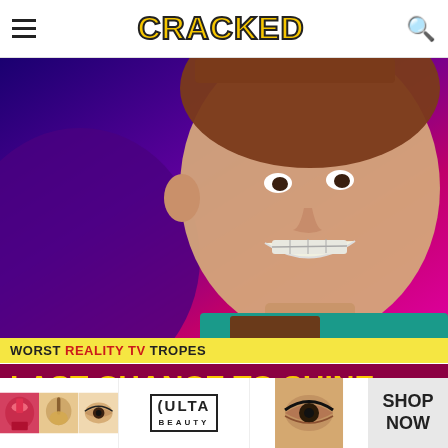CRACKED
[Figure (photo): Young person smiling broadly with braces, wearing a brown vest over a teal shirt, against a purple and pink background]
WORST REALITY TV TROPES
LAST CHANCE TO SHINE
When someone and their life story is given unusual focus, they're definitely about to get the boot.
[Figure (photo): ULTA beauty advertisement banner showing makeup and cosmetics imagery with SHOP NOW call to action]